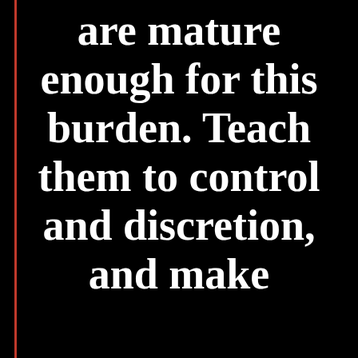are mature enough for this burden. Teach them to control and discretion, and make